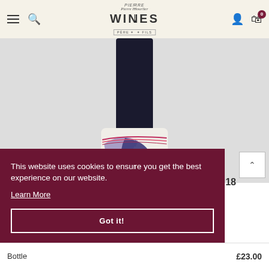Pierre Hourlier WINES — navigation header with menu, search, logo, user account, and cart (0 items)
[Figure (photo): Wine bottle with colorful abstract label (purple, white, red wavy design) on light grey background, showing upper portion of bottle]
18
This website uses cookies to ensure you get the best experience on our website. Learn More
Got it!
Bottle
£23.00